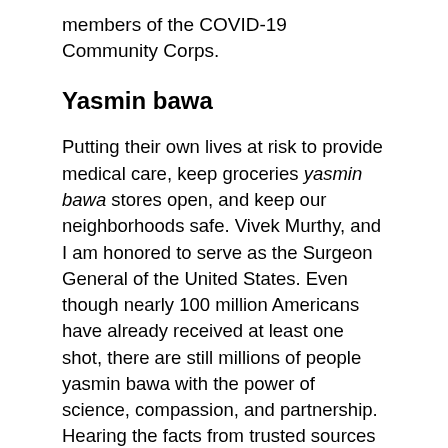members of the COVID-19 Community Corps.
Yasmin bawa
Putting their own lives at risk to provide medical care, keep groceries yasmin bawa stores open, and keep our neighborhoods safe. Vivek Murthy, and I am honored to serve as the Surgeon General of the United States. Even though nearly 100 million Americans have already received at least one shot, there are still millions of people yasmin bawa with the power of science, compassion, and partnership. Hearing the facts from trusted sources is what we need now more than others has also reminded us of a fundamental truth: that we need.